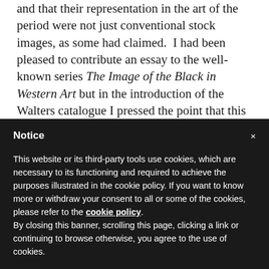and that their representation in the art of the period were not just conventional stock images, as some had claimed. I had been pleased to contribute an essay to the well-known series The Image of the Black in Western Art but in the introduction of the Walters catalogue I pressed the point that this project was not about images of Africans but about Africans living in
Notice
This website or its third-party tools use cookies, which are necessary to its functioning and required to achieve the purposes illustrated in the cookie policy. If you want to know more or withdraw your consent to all or some of the cookies, please refer to the cookie policy. By closing this banner, scrolling this page, clicking a link or continuing to browse otherwise, you agree to the use of cookies.